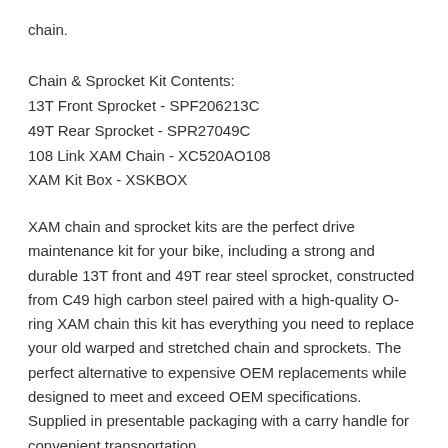chain.
Chain & Sprocket Kit Contents:
13T Front Sprocket - SPF206213C
49T Rear Sprocket - SPR27049C
108 Link XAM Chain - XC520AO108
XAM Kit Box - XSKBOX
XAM chain and sprocket kits are the perfect drive maintenance kit for your bike, including a strong and durable 13T front and 49T rear steel sprocket, constructed from C49 high carbon steel paired with a high-quality O-ring XAM chain this kit has everything you need to replace your old warped and stretched chain and sprockets. The perfect alternative to expensive OEM replacements while designed to meet and exceed OEM specifications. Supplied in presentable packaging with a carry handle for convenient transportation.